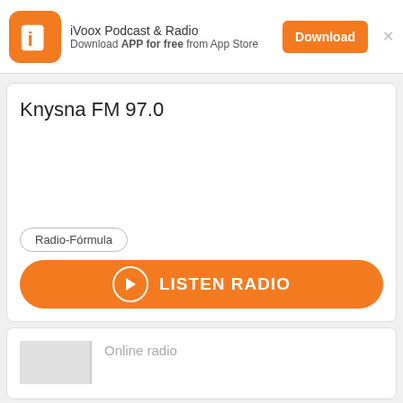iVoox Podcast & Radio — Download APP for free from App Store
Knysna FM 97.0
Radio-Fórmula
LISTEN RADIO
Online radio